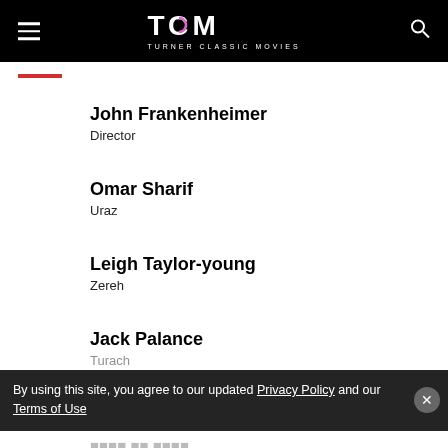TCM TURNER CLASSIC MOVIES
John Frankenheimer
Director
Omar Sharif
Uraz
Leigh Taylor-young
Zereh
Jack Palance
Turach
By using this site, you agree to our updated Privacy Policy and our Terms of Use